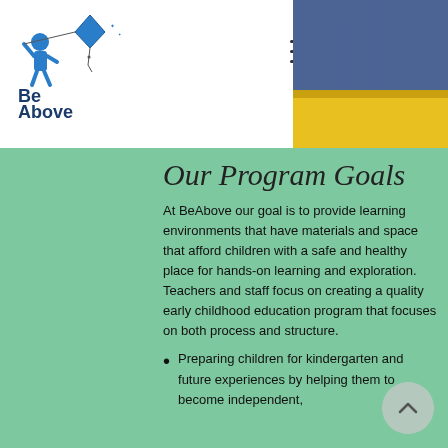[Figure (logo): Be Above logo with kite and child figure in blue]
[Figure (photo): Photo of child or person, partially visible at top right corner, with yellow/blue background]
Our Program Goals
At BeAbove our goal is to provide learning environments that have materials and space that afford children with a safe and healthy place for hands-on learning and exploration.  Teachers and staff focus on creating a quality early childhood education program that focuses on both process and structure.
Preparing children for kindergarten and future experiences by helping them to become independent,